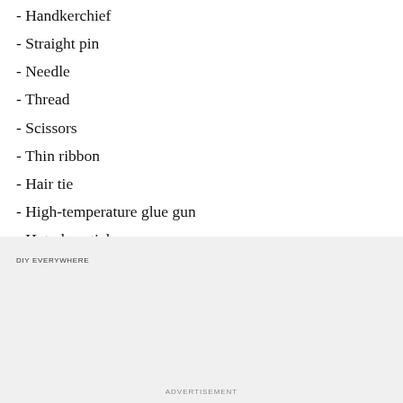- Handkerchief
- Straight pin
- Needle
- Thread
- Scissors
- Thin ribbon
- Hair tie
- High-temperature glue gun
- Hot glue stick
- Decorative button
DIY EVERYWHERE
ADVERTISEMENT